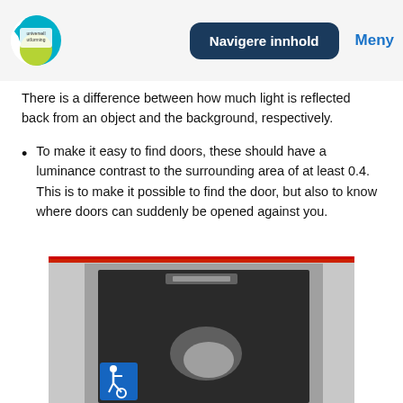Navigere innhold  Meny
There is a difference between how much light is reflected back from an object and the background, respectively.
To make it easy to find doors, these should have a luminance contrast to the surrounding area of at least 0.4. This is to make it possible to find the door, but also to know where doors can suddenly be opened against you.
[Figure (photo): A dark door with a wheelchair accessibility symbol (blue square with white wheelchair icon) in the lower left corner. The door appears to be a heavy institutional door with a glossy/reflective surface against a light gray wall.]